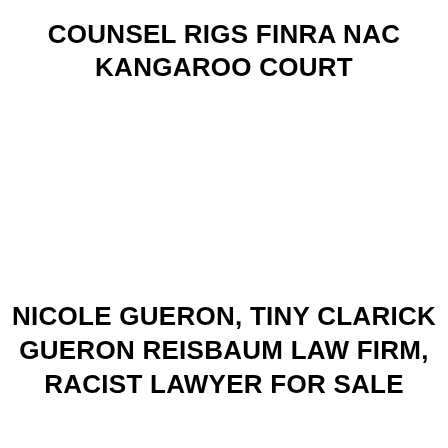COUNSEL RIGS FINRA NAC KANGAROO COURT
NICOLE GUERON, TINY CLARICK GUERON REISBAUM LAW FIRM, RACIST LAWYER FOR SALE